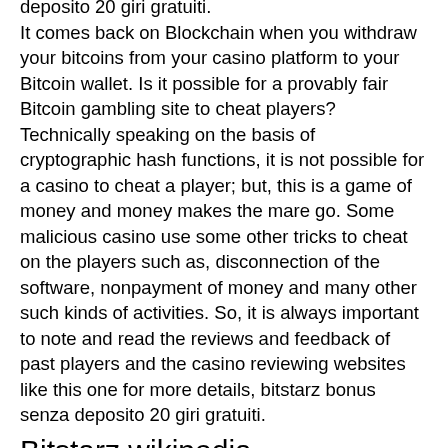deposito 20 giri gratuiti. It comes back on Blockchain when you withdraw your bitcoins from your casino platform to your Bitcoin wallet. Is it possible for a provably fair Bitcoin gambling site to cheat players? Technically speaking on the basis of cryptographic hash functions, it is not possible for a casino to cheat a player; but, this is a game of money and money makes the mare go. Some malicious casino use some other tricks to cheat on the players such as, disconnection of the software, nonpayment of money and many other such kinds of activities. So, it is always important to note and read the reviews and feedback of past players and the casino reviewing websites like this one for more details, bitstarz bonus senza deposito 20 giri gratuiti.
Bitstarz wikipedia